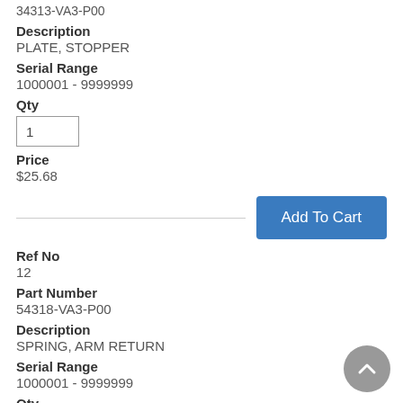34313-VA3-P00
Description
PLATE, STOPPER
Serial Range
1000001 - 9999999
Qty
1
Price
$25.68
Add To Cart
Ref No
12
Part Number
54318-VA3-P00
Description
SPRING, ARM RETURN
Serial Range
1000001 - 9999999
Qty